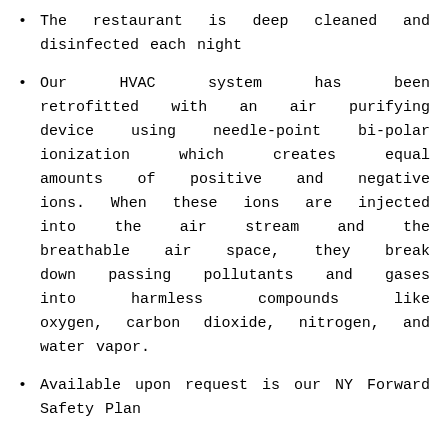The restaurant is deep cleaned and disinfected each night
Our HVAC system has been retrofitted with an air purifying device using needle-point bi-polar ionization which creates equal amounts of positive and negative ions. When these ions are injected into the air stream and the breathable air space, they break down passing pollutants and gases into harmless compounds like oxygen, carbon dioxide, nitrogen, and water vapor.
Available upon request is our NY Forward Safety Plan